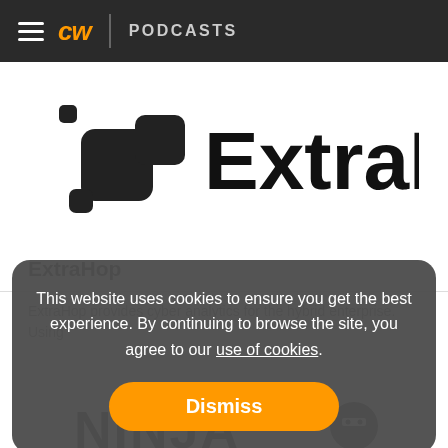CW | PODCASTS
[Figure (logo): ExtraHop company logo — stylized icon of interconnected squares/dots in dark color, with 'ExtraHop' text in bold black]
ExtraHop
ExtraHop provides cyber analytics for the hybrid enterprise. Using
This website uses cookies to ensure you get the best experience. By continuing to browse the site, you agree to our use of cookies.
Dismiss
[Figure (logo): Ninja logo text at bottom of page — bold black letters 'NINJA' with a ninja face icon]